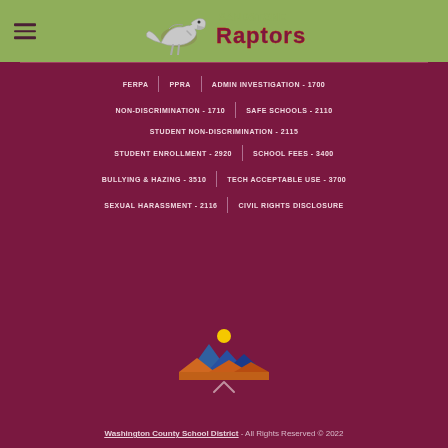[Figure (logo): Sandstone Raptors school logo with raptor dinosaur graphic and stylized text]
FERPA
PPRA
ADMIN INVESTIGATION - 1700
NON-DISCRIMINATION - 1710
SAFE SCHOOLS - 2110
STUDENT NON-DISCRIMINATION - 2115
STUDENT ENROLLMENT - 2920
SCHOOL FEES - 3400
BULLYING & HAZING - 3510
TECH ACCEPTABLE USE - 3700
SEXUAL HARASSMENT - 2116
CIVIL RIGHTS DISCLOSURE
[Figure (logo): Washington County School District logo with mountain and sun graphic in orange and blue]
Washington County School District - All Rights Reserved © 2022